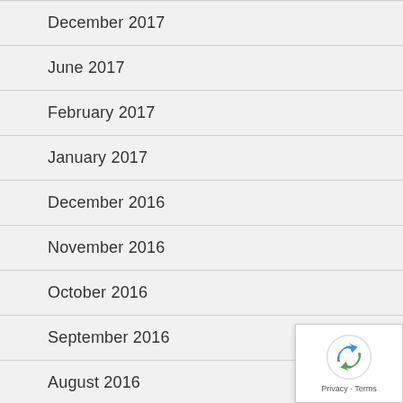December 2017
June 2017
February 2017
January 2017
December 2016
November 2016
October 2016
September 2016
August 2016